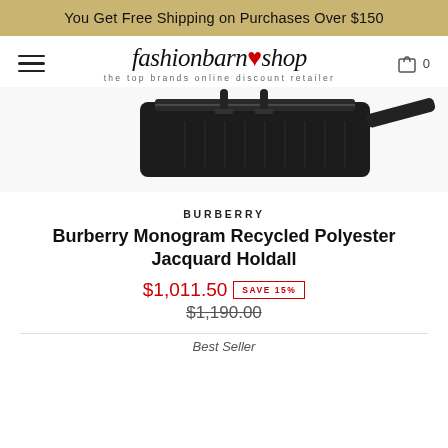You Get Free Shipping on Purchases Over $150
[Figure (logo): fashionbarn shop logo with red heart and tagline 'the top brands online discount retailer']
[Figure (photo): Burberry Monogram Recycled Polyester Jacquard Holdall bag, dark/black, partial top view]
BURBERRY
Burberry Monogram Recycled Polyester Jacquard Holdall
$1,011.50  $1,190.00  SAVE 15%
Best Seller